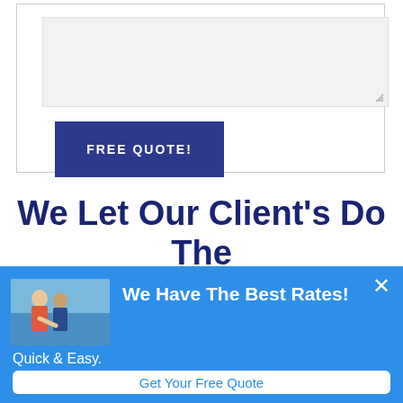[Figure (screenshot): Web form with a large textarea input field (light gray background) and a dark navy blue button labeled FREE QUOTE! in white uppercase letters]
We Let Our Client's Do The Talking
[Figure (infographic): Blue popup banner overlay with a photo of a couple on a boat, headline 'We Have The Best Rates!', subtext 'Quick & Easy.', a white button 'Get Your Free Quote', and a white X close button]
We Have The Best Rates!
Quick & Easy.
Get Your Free Quote